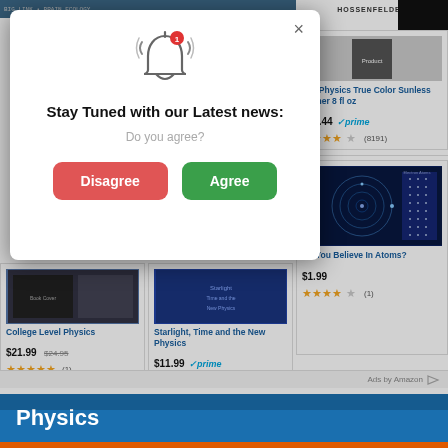[Figure (screenshot): Partial top bar of website with dark header and partial book cover images]
[Figure (screenshot): Amazon product: Tan Physics True Color Sunless Tanner 8 fl oz, $37.44, Prime, 4.5 stars, 8191 reviews]
[Figure (infographic): Modal popup with bell notification icon, notification badge showing '1', title 'Stay Tuned with our Latest news:', subtitle 'Do you agree?', with red Disagree and green Agree buttons, and X close button]
[Figure (screenshot): Amazon product card: College Level Physics, $21.99, was $24.95, 5 stars (1 review)]
[Figure (screenshot): Amazon product card: Starlight, Time and the New Physics, $11.99, Prime, 4.5 stars (18 reviews)]
[Figure (screenshot): Amazon product: Do You Believe In Atoms? electron atoms image, $1.99, 4.5 stars (1 review)]
Ads by Amazon
Physics